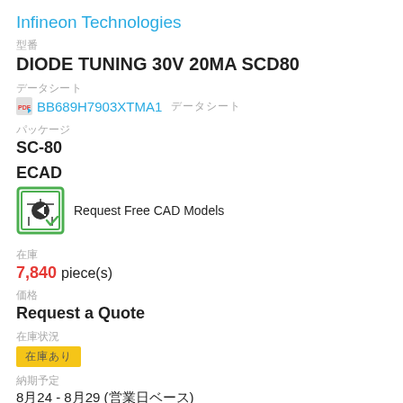Infineon Technologies
型番
DIODE TUNING 30V 20MA SCD80
データシート
BB689H7903XTMA1 データシート
パッケージ
SC-80
ECAD
[Figure (other): Request Free CAD Models button with circuit board icon]
在庫
7,840 piece(s)
価格
Request a Quote
在庫状況
在庫あり
納期予定
8月24 - 8月29 (営業日ベース)